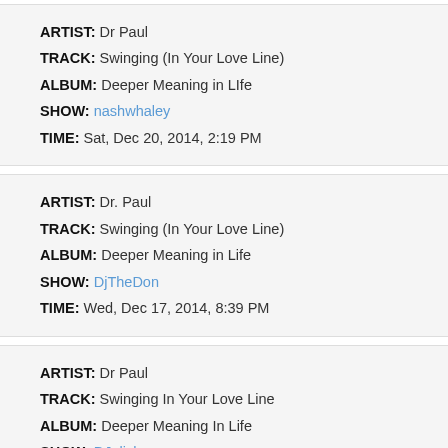ARTIST: Dr Paul | TRACK: Swinging (In Your Love Line) | ALBUM: Deeper Meaning in LIfe | SHOW: nashwhaley | TIME: Sat, Dec 20, 2014, 2:19 PM
ARTIST: Dr. Paul | TRACK: Swinging (In Your Love Line) | ALBUM: Deeper Meaning in Life | SHOW: DjTheDon | TIME: Wed, Dec 17, 2014, 8:39 PM
ARTIST: Dr Paul | TRACK: Swinging In Your Love Line | ALBUM: Deeper Meaning In Life | SHOW: DJalisha | TIME: Wed, Dec 10, 2014, 9:42 PM
ARTIST: Dr. Paul | TRACK: Swinging (In Your Love Line) | ALBUM: Deeper Meaning In Life